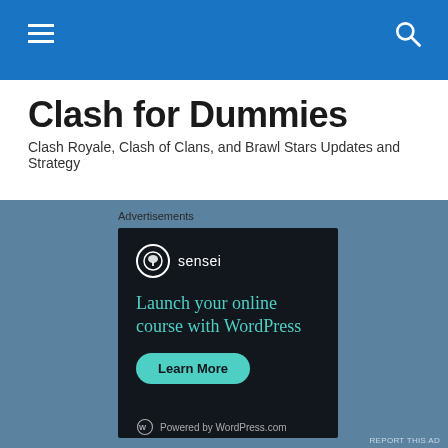navigation bar with hamburger menu and search icon
Clash for Dummies
Clash Royale, Clash of Clans, and Brawl Stars Updates and Strategy
Advertisements
[Figure (screenshot): Sensei advertisement banner with dark background. Shows Sensei logo (circle with tree icon) and brand name 'sensei', headline text 'Launch your online course with WordPress' in teal color, a 'Learn More' button in teal, and 'Powered by WordPress.com' footer with WordPress logo.]